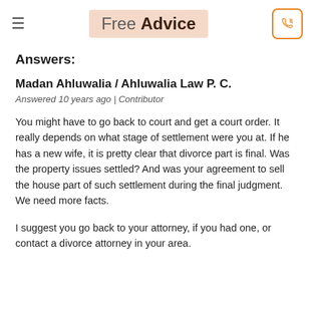Free Advice
Answers:
Madan Ahluwalia / Ahluwalia Law P. C.
Answered 10 years ago | Contributor
You might have to go back to court and get a court order. It really depends on what stage of settlement were you at. If he has a new wife, it is pretty clear that divorce part is final. Was the property issues settled? And was your agreement to sell the house part of such settlement during the final judgment. We need more facts.
I suggest you go back to your attorney, if you had one, or contact a divorce attorney in your area.